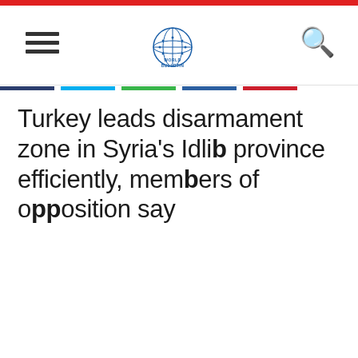World Bulletin
Turkey leads disarmament zone in Syria's Idlib province efficiently, members of opposition say